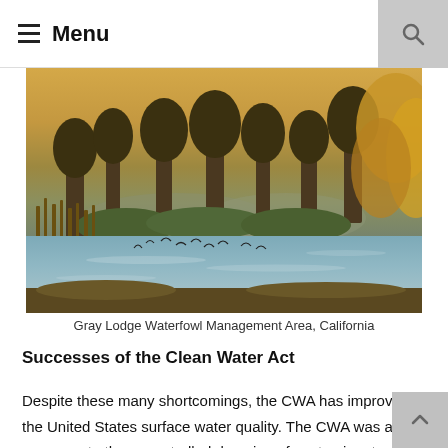Menu
[Figure (photo): Aerial/ground-level view of Gray Lodge Waterfowl Management Area, California, showing wetlands with birds flying over water, reeds, trees with autumn foliage, and warm golden sunset light.]
Gray Lodge Waterfowl Management Area, California
Successes of the Clean Water Act
Despite these many shortcomings, the CWA has improved the United States surface water quality. The CWA was a response to the uncontrolled dumping of contaminants, untreated